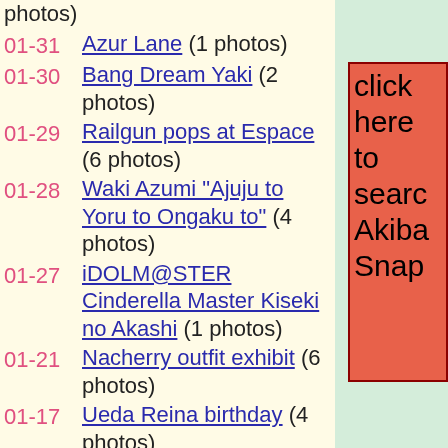photos)
01-31 Azur Lane (1 photos)
01-30 Bang Dream Yaki (2 photos)
01-29 Railgun pops at Espace (6 photos)
01-28 Waki Azumi "Ajuju to Yoru to Ongaku to" (4 photos)
01-27 iDOLM@STER Cinderella Master Kiseki no Akashi (1 photos)
01-21 Nacherry outfit exhibit (6 photos)
01-17 Ueda Reina birthday (4 photos)
01-16 Kanojo Okarishimasu x Atre (6 photos)
01-14 Slow Loop (4 photos)
01-12 Love Live x Atre (9 photos)
01-10 Amamiya Sora "Best Album - Blue- -Red-" (3 photos)
01-0? Kin-iro Mosaic popup store (4
[Figure (other): Red button/box with text 'click here to search Akiba Snap']